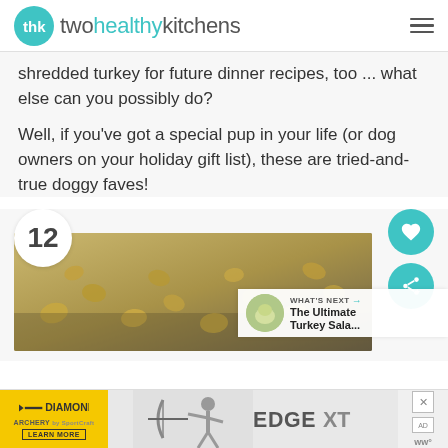twohealthykitchens
shredded turkey for future dinner recipes, too ... what else can you possibly do?
Well, if you've got a special pup in your life (or dog owners on your holiday gift list), these are tried-and-true doggy faves!
[Figure (photo): Photo of small baked dog treats on a baking sheet, with the number 12 badge overlay and heart/share icon buttons. A 'What's Next - The Ultimate Turkey Sala...' banner appears in the corner.]
[Figure (photo): Advertisement banner for Diamond Archery EDGEXT product with 'Learn More' button]